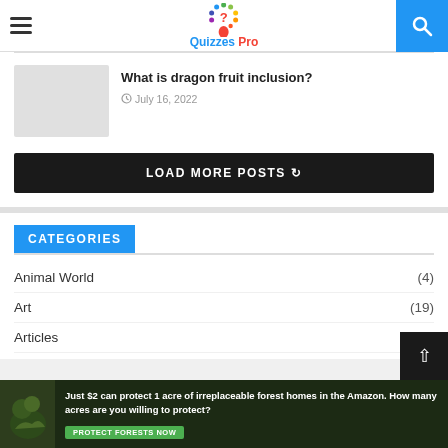Quizzes Pro
[Figure (logo): Quizzes Pro logo with colorful question mark icon]
What is dragon fruit inclusion?
July 16, 2022
LOAD MORE POSTS
CATEGORIES
Animal World (4)
Art (19)
Articles (1...)
[Figure (photo): Amazon forest advertisement banner: Just $2 can protect 1 acre of irreplaceable forest homes in the Amazon. How many acres are you willing to protect? PROTECT FORESTS NOW]